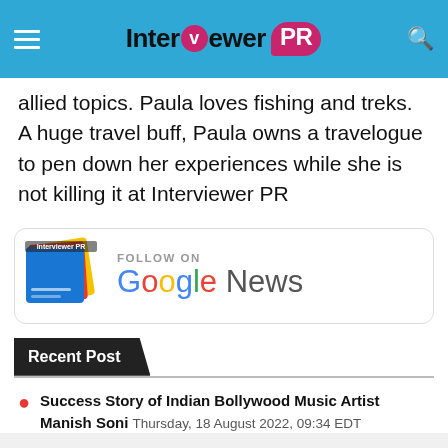Interviewer PR
allied topics. Paula loves fishing and treks. A huge travel buff, Paula owns a travelogue to pen down her experiences while she is not killing it at Interviewer PR
[Figure (other): Follow on Google News banner with Google News icon and colored Google logo]
Recent Post
Success Story of Indian Bollywood Music Artist Manish Soni Thursday, 18 August 2022, 09:34 EDT